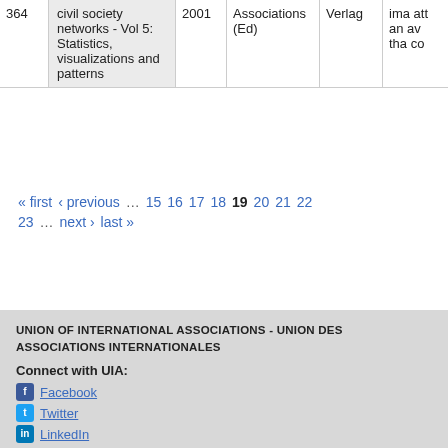| # | Title | Year | Publisher | Verlag |  |
| --- | --- | --- | --- | --- | --- |
| 364 | civil society networks - Vol 5: Statistics, visualizations and patterns | 2001 | Associations (Ed) | Verlag | ima att an av tha co |
« first ‹ previous … 15 16 17 18 19 20 21 22 23 … next › last »
UNION OF INTERNATIONAL ASSOCIATIONS - UNION DES ASSOCIATIONS INTERNATIONALES
Connect with UIA:
Facebook
Twitter
LinkedIn
General Information:
Contact
History
UIA's profile in the Yearbook
Institutional Status